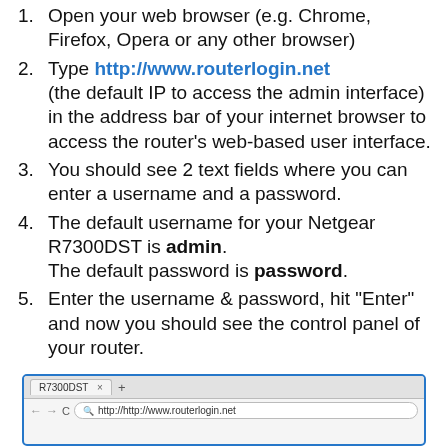Open your web browser (e.g. Chrome, Firefox, Opera or any other browser)
Type http://www.routerlogin.net (the default IP to access the admin interface) in the address bar of your internet browser to access the router's web-based user interface.
You should see 2 text fields where you can enter a username and a password.
The default username for your Netgear R7300DST is admin. The default password is password.
Enter the username & password, hit "Enter" and now you should see the control panel of your router.
[Figure (screenshot): Browser screenshot showing a tab labeled R7300DST and address bar with http://http://www.routerlogin.net]